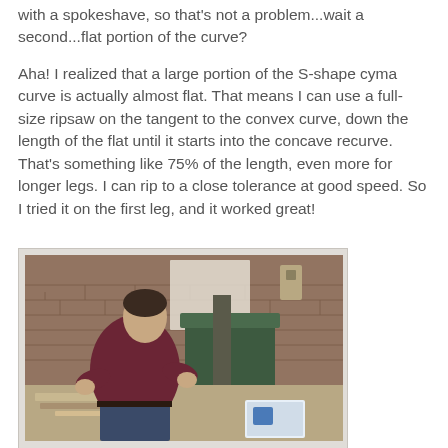with a spokeshave, so that's not a problem...wait a second...flat portion of the curve?
Aha! I realized that a large portion of the S-shape cyma curve is actually almost flat. That means I can use a full-size ripsaw on the tangent to the convex curve, down the length of the flat until it starts into the concave recurve. That's something like 75% of the length, even more for longer legs. I can rip to a close tolerance at good speed. So I tried it on the first leg, and it worked great!
[Figure (photo): A man in a dark red/maroon long-sleeve shirt working at a woodworking bench in a workshop with exposed brick walls. Tools and wood pieces are visible on the workbench. Workshop machinery is visible in the background.]